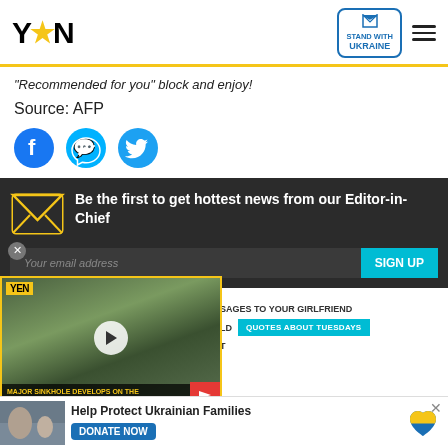YEN — Stand with Ukraine
"Recommended for you" block and enjoy!
Source: AFP
[Figure (other): Social sharing icons: Facebook, Messenger, Twitter]
[Figure (infographic): Newsletter signup banner: 'Be the first to get hottest news from our Editor-in-Chief' with email input and SIGN UP button]
[Figure (other): Video overlay showing a news reporter at Madina-Tetteh Quarshie Highway sinkhole scene with YEN logo badge and play button. Caption: MAJOR SINKHOLE DEVELOPS ON THE MADINA-TETTEH QUARSHIE HIGHWAY]
SAGES TO YOUR GIRLFRIEND
QUOTES ABOUT TUESDAYS
[Figure (infographic): Ukraine charity ad banner: Help Protect Ukrainian Families with DONATE NOW button and Ukrainian flag heart icon]